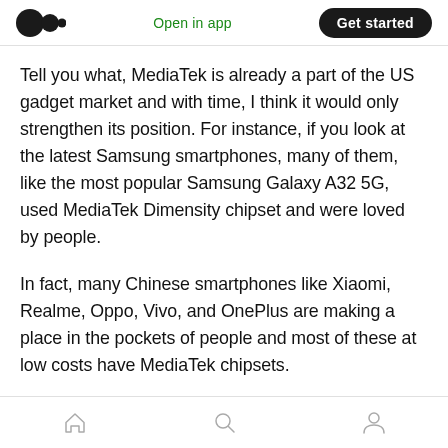Open in app | Get started
Tell you what, MediaTek is already a part of the US gadget market and with time, I think it would only strengthen its position. For instance, if you look at the latest Samsung smartphones, many of them, like the most popular Samsung Galaxy A32 5G, used MediaTek Dimensity chipset and were loved by people.
In fact, many Chinese smartphones like Xiaomi, Realme, Oppo, Vivo, and OnePlus are making a place in the pockets of people and most of these at low costs have MediaTek chipsets.
Home | Search | Profile